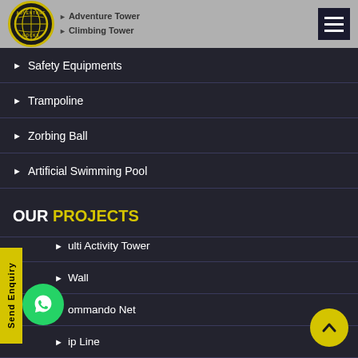[Figure (logo): Adventure Rocks circular logo with yellow border and globe icon]
Adventure Tower
Climbing Tower
Safety Equipments
Trampoline
Zorbing Ball
Artificial Swimming Pool
OUR PROJECTS
Multi Activity Tower
Climbing Wall
Commando Net
Zip Line
Rope Courses
Outdoor Obstacle Course Setup